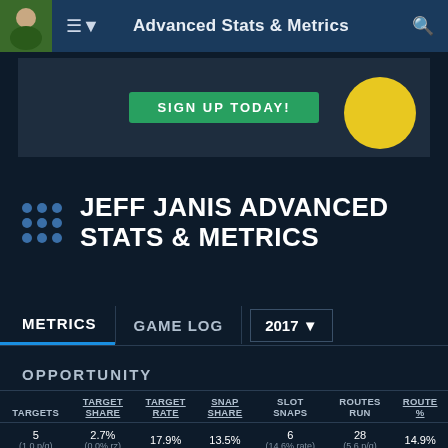Advanced Stats & Metrics
[Figure (screenshot): Advertisement banner with SIGN UP TODAY button and yellow circle]
JEFF JANIS ADVANCED STATS & METRICS
METRICS   GAME LOG   2017
OPPORTUNITY
| TARGETS | TARGET SHARE | TARGET RATE | SNAP SHARE | SLOT SNAPS | ROUTES RUN | ROUTE % |
| --- | --- | --- | --- | --- | --- | --- |
| 5
(1.0 p/g) | 2.7%
(0.0% rz) | 17.9% | 13.5% | 6
(14.6% rate) | 28
(5.6 p/g) | 14.9% |
| #179 | - | - | #183 | #166 | #175 | - |